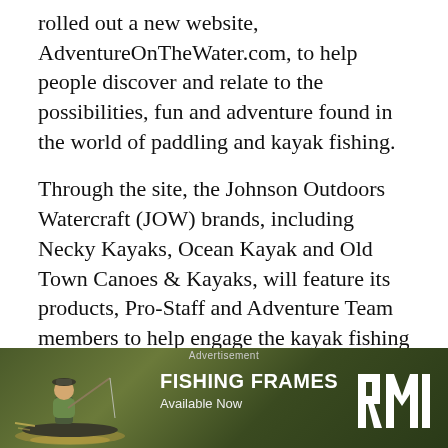rolled out a new website, AdventureOnTheWater.com, to help people discover and relate to the possibilities, fun and adventure found in the world of paddling and kayak fishing.
Through the site, the Johnson Outdoors Watercraft (JOW) brands, including Necky Kayaks, Ocean Kayak and Old Town Canoes & Kayaks, will feature its products, Pro-Staff and Adventure Team members to help engage the kayak fishing community and promote canoeing and kayaking as a whole.
The site will feature videos, photos and stories.
[Figure (infographic): Advertisement banner for 'Fishing Frames - Available Now' with a person fishing from a kayak on a lake/river, and a stylized RMR logo on the right side over a green nature background.]